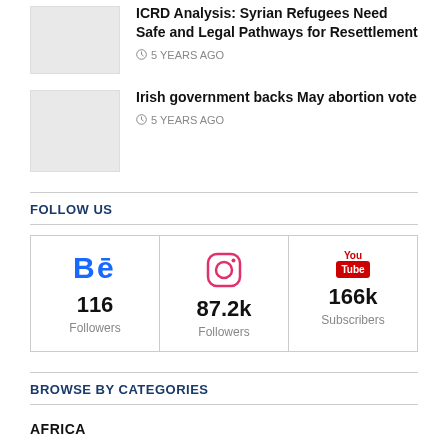[Figure (photo): Thumbnail image placeholder for article about Syrian Refugees]
ICRD Analysis: Syrian Refugees Need Safe and Legal Pathways for Resettlement
5 YEARS AGO
[Figure (photo): Thumbnail image placeholder for article about Irish abortion vote]
Irish government backs May abortion vote
5 YEARS AGO
FOLLOW US
[Figure (infographic): Social media follow widgets: Behance 116 Followers, Instagram 87.2k Followers, YouTube 166k Subscribers]
BROWSE BY CATEGORIES
AFRICA